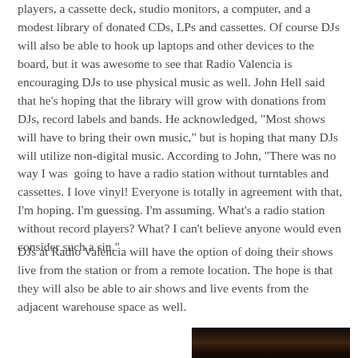players, a cassette deck, studio monitors, a computer, and a modest library of donated CDs, LPs and cassettes. Of course DJs will also be able to hook up laptops and other devices to the board, but it was awesome to see that Radio Valencia is encouraging DJs to use physical music as well. John Hell said that he's hoping that the library will grow with donations from DJs, record labels and bands. He acknowledged, "Most shows will have to bring their own music," but is hoping that many DJs will utilize non-digital music. According to John, "There was no way I was going to have a radio station without turntables and cassettes. I love vinyl! Everyone is totally in agreement with that, I'm hoping. I'm guessing. I'm assuming. What's a radio station without record players? What? I can't believe anyone would even consider such a sin."
DJs at Radio Valencia will have the option of doing their shows live from the station or from a remote location. The hope is that they will also be able to air shows and live events from the adjacent warehouse space as well.
[Figure (photo): Dark photograph, partially visible at bottom of page]